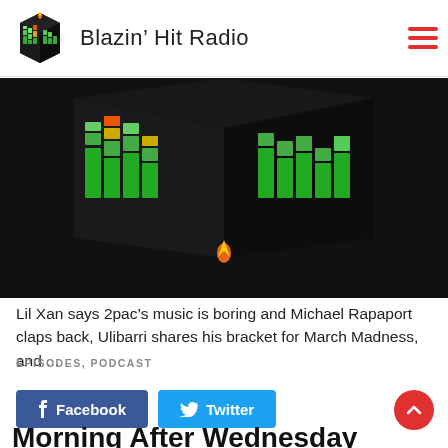Blazin' Hit Radio
[Figure (logo): Blazin' Hit Radio logo — 3D black cube with colorful equalizer bars in green, yellow, and red, plus flame icon above text 'Morning After']
Lil Xan says 2pac's music is boring and Michael Rapaport claps back, Ulibarri shares his bracket for March Madness, and ...
Facebook  Twitter
EPISODES, PODCAST
Morning After Wednesday